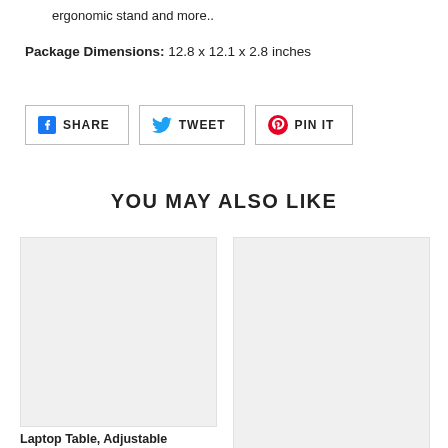ergonomic stand and more..
Package Dimensions: 12.8 x 12.1 x 2.8 inches
[Figure (infographic): Social share buttons: SHARE (Facebook), TWEET (Twitter), PIN IT (Pinterest)]
YOU MAY ALSO LIKE
[Figure (photo): Product image placeholder (gray box) for Laptop Table, Adjustable]
Laptop Table, Adjustable
[Figure (photo): Product image placeholder (gray box) for second product]